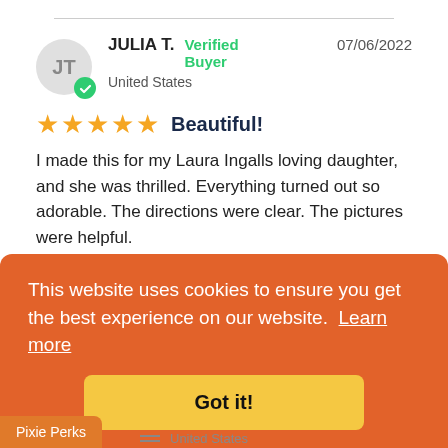JULIA T.  Verified Buyer  United States  07/06/2022
★★★★★  Beautiful!
I made this for my Laura Ingalls loving daughter, and she was thrilled. Everything turned out so adorable. The directions were clear. The pictures were helpful.
Prairie Rose 18" Doll Clothes
This website uses cookies to ensure you get the best experience on our website.  Learn more
Got it!
Pixie Perks
United States